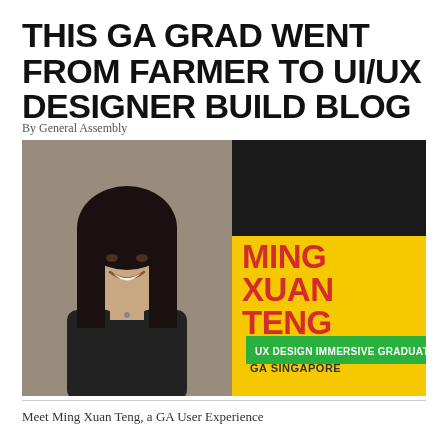THIS GA GRAD WENT FROM FARMER TO UI/UX DESIGNER BUILD BLOG
By General Assembly
[Figure (photo): Profile photo card of Ming Xuan Teng, UX Design Immersive Graduate at GA Singapore. Left half shows a portrait photo of a young Asian woman smiling, wearing a black outfit. Right half has a dark top section and yellow bottom section with bold red text reading 'MING XUAN TENG', a green badge reading 'UX DESIGN IMMERSIVE GRADUATE', and text 'GA SINGAPORE'.]
Meet Ming Xuan Teng, a GA User Experience